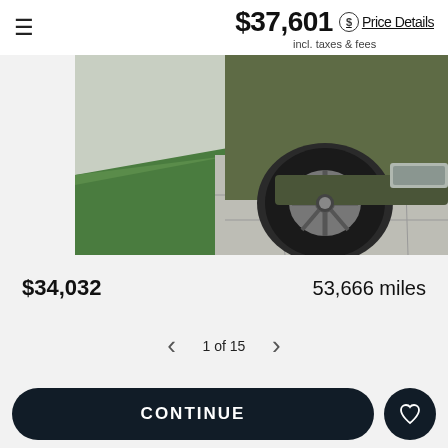≡
$37,601 $ Price Details incl. taxes & fees
[Figure (photo): Close-up photo of the front wheel and lower front bumper of an olive/dark green SUV parked on a tiled driveway next to grass]
$34,032
53,666 miles
1 of 15
VIEW ALL INVENTORY
CONTINUE